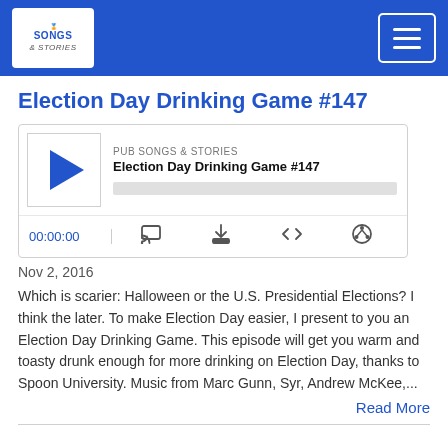Pub Songs & Stories — Navigation header with logo and menu button
Election Day Drinking Game #147
[Figure (screenshot): Audio player widget showing: PUB SONGS & STORIES label, title 'Election Day Drinking Game #147', a play button, progress bar, timestamp 00:00:00, and control icons for cast, download, embed, and share]
Nov 2, 2016
Which is scarier: Halloween or the U.S. Presidential Elections? I think the later. To make Election Day easier, I present to you an Election Day Drinking Game. This episode will get you warm and toasty drunk enough for more drinking on Election Day, thanks to Spoon University. Music from Marc Gunn, Syr, Andrew McKee,...
Read More